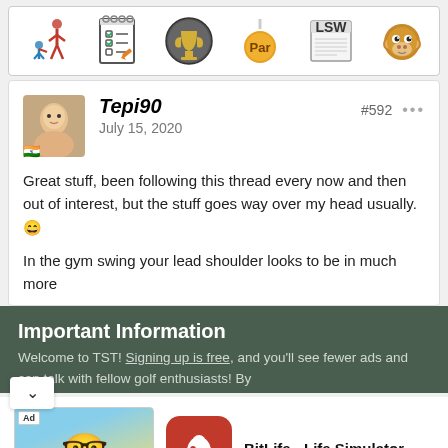[Figure (screenshot): Row of app icons: parent-child figure, checklist notepad, golf trophy, Par medal, LSW newspaper, monkey face emoji]
[Figure (screenshot): Forum post by user Tepi90, dated July 15 2020, post #592. Text: Great stuff, been following this thread every now and then out of interest, but the stuff goes way over my head usually. In the gym swing your lead shoulder looks to be in much more]
Important Information
Welcome to TST! Signing up is free, and you'll see fewer ads and can talk with fellow golf enthusiasts! By
[Figure (screenshot): Advertisement for BitLife - Life Simulator app with INSTALL! button]